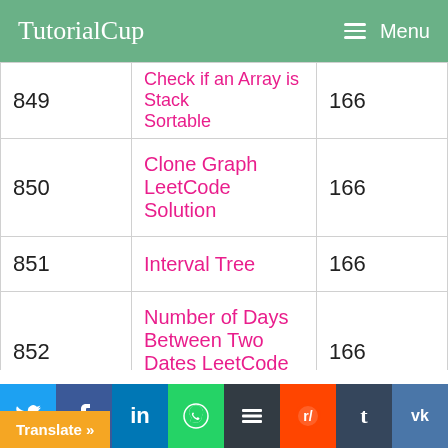TutorialCup   Menu
| # | Title | Page |
| --- | --- | --- |
| 849 | Check if an Array is Stack Sortable | 166 |
| 850 | Clone Graph LeetCode Solution | 166 |
| 851 | Interval Tree | 166 |
| 852 | Number of Days Between Two Dates LeetCode Solution | 166 |
| 853 | Permutation Coefficient | 166 |
| 854 | Minimum number of jumps to reach end | 166 |